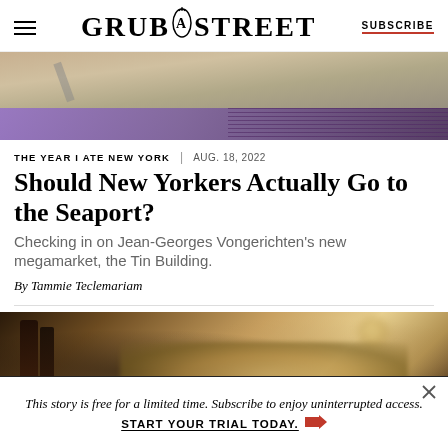GRUB STREET | SUBSCRIBE
[Figure (photo): Top portion of an article photo with a purple bar overlay at the bottom]
THE YEAR I ATE NEW YORK | AUG. 18, 2022
Should New Yorkers Actually Go to the Seaport?
Checking in on Jean-Georges Vongerichten's new megamarket, the Tin Building.
By Tammie Teclemariam
[Figure (photo): Close-up food or beverage photo with bokeh, dark and golden tones]
This story is free for a limited time. Subscribe to enjoy uninterrupted access. START YOUR TRIAL TODAY.